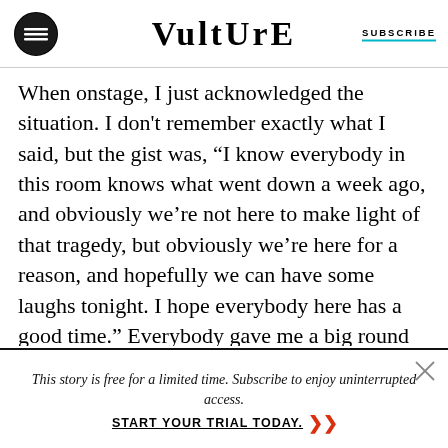VULTURE | SUBSCRIBE
When onstage, I just acknowledged the situation. I don't remember exactly what I said, but the gist was, “I know everybody in this room knows what went down a week ago, and obviously we’re not here to make light of that tragedy, but obviously we’re here for a reason, and hopefully we can have some laughs tonight. I hope everybody here has a good time.” Everybody gave me a big round of applause on that, because I think they were all thinking the same thing.
This story is free for a limited time. Subscribe to enjoy uninterrupted access. START YOUR TRIAL TODAY.